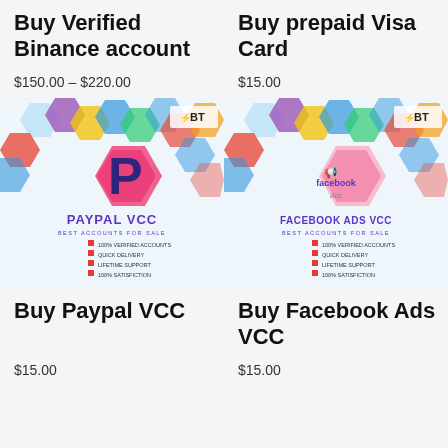Buy Verified Binance account
$150.00 – $220.00
Buy prepaid Visa Card
$15.00
[Figure (illustration): PayPal VCC promotional image with hexagon pattern background, PayPal logo, text PAYPAL VCC BEST ACCOUNTS FOR SALE with bullet points]
[Figure (illustration): Facebook Ads VCC promotional image with hexagon pattern background, Facebook Ads logo, text FACEBOOK ADS VCC BEST ACCOUNTS FOR SALE with bullet points]
Buy Paypal VCC
$15.00
Buy Facebook Ads VCC
$15.00